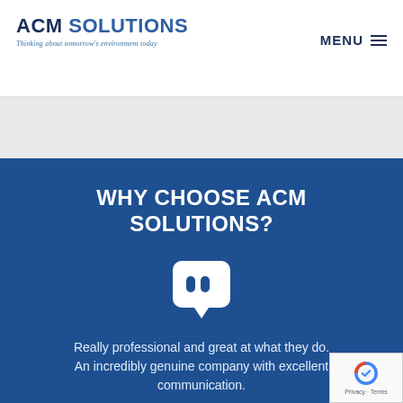ACM SOLUTIONS – Thinking about tomorrow's environment today
WHY CHOOSE ACM SOLUTIONS?
[Figure (illustration): White speech bubble icon with quotation marks on blue background]
Really professional and great at what they do. An incredibly genuine company with excellent communication.